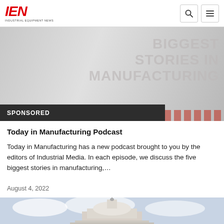IEN - INDUSTRIAL EQUIPMENT NEWS
[Figure (photo): Banner image showing 'BIGGEST STORIES IN MANUFACTURING' text overlay on a light gray background with a red striped accent, marked as SPONSORED]
SPONSORED
Today in Manufacturing Podcast
Today in Manufacturing has a new podcast brought to you by the editors of Industrial Media. In each episode, we discuss the five biggest stories in manufacturing,...
August 4, 2022
[Figure (photo): Photo of the US Capitol building dome against a cloudy sky, showing the top portion with the Statue of Freedom]